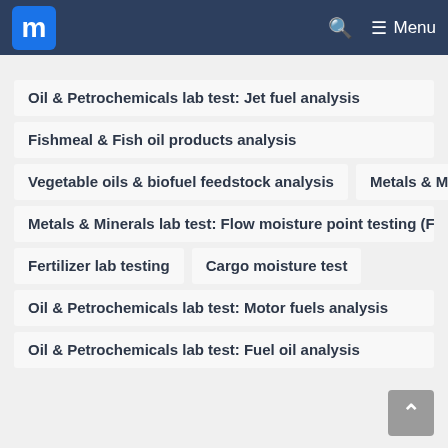m Menu
Oil & Petrochemicals lab test: Jet fuel analysis
Fishmeal & Fish oil products analysis
Vegetable oils & biofuel feedstock analysis
Metals & Mi…
Metals & Minerals lab test: Flow moisture point testing (FM…
Fertilizer lab testing
Cargo moisture test
Oil & Petrochemicals lab test: Motor fuels analysis
Oil & Petrochemicals lab test: Fuel oil analysis